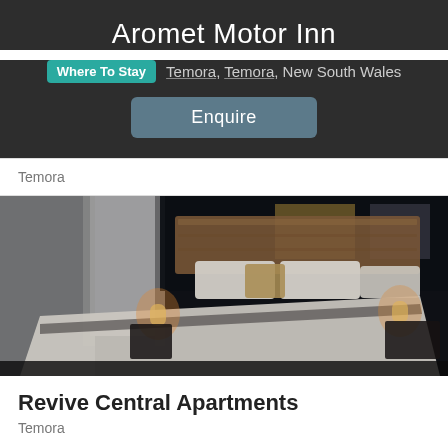Aromet Motor Inn
Where To Stay  Temora, Temora, New South Wales
Enquire
Temora
[Figure (photo): Hotel room with a large bed featuring a wooden headboard, white linens, ambient bedside lamps against a dark wall]
Revive Central Apartments
Temora